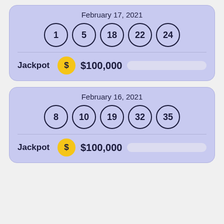[Figure (infographic): Lottery result card for February 17, 2021. Winning numbers: 1, 5, 18, 22, 24. Jackpot: $100,000.]
[Figure (infographic): Lottery result card for February 16, 2021. Winning numbers: 8, 10, 19, 32, 35. Jackpot: $100,000.]